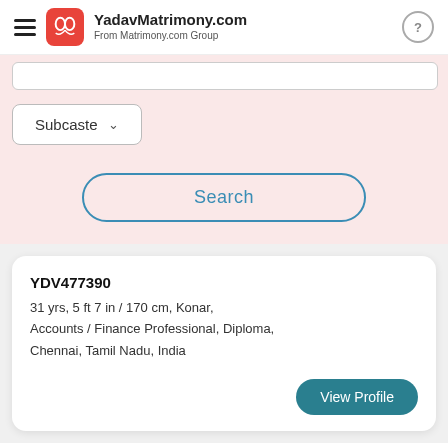YadavMatrimony.com — From Matrimony.com Group
Subcaste
Search
YDV477390
31 yrs, 5 ft 7 in / 170 cm, Konar, Accounts / Finance Professional, Diploma, Chennai, Tamil Nadu, India
View Profile